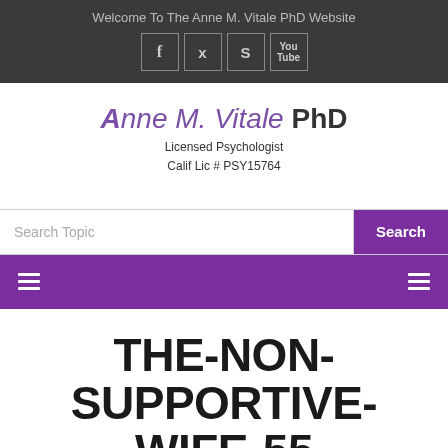Welcome To The Anne M. Vitale PhD Website
Anne M. Vitale PhD
Licensed Psychologist
Calif Lic # PSY15764
Search Topic
THE-NON-SUPPORTIVE-WIFE-55